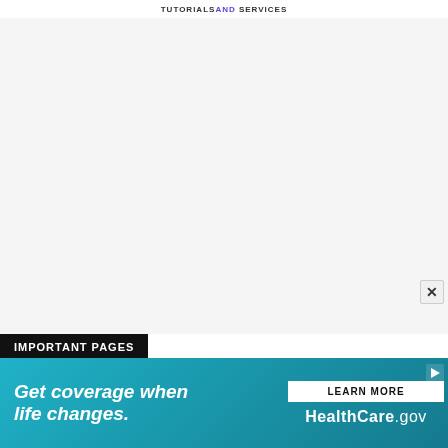TUTORIALS AND SERVICES
[Figure (other): Large white/light gray advertisement or content area placeholder]
IMPORTANT PAGES
Multiple Choice Questions (MCQs)
E-BOOKS AND NOTES
AHSEC
[Figure (infographic): Advertisement banner for HealthCare.gov: 'Get coverage when life changes.' with LEARN MORE button and HealthCare.gov logo on teal background]